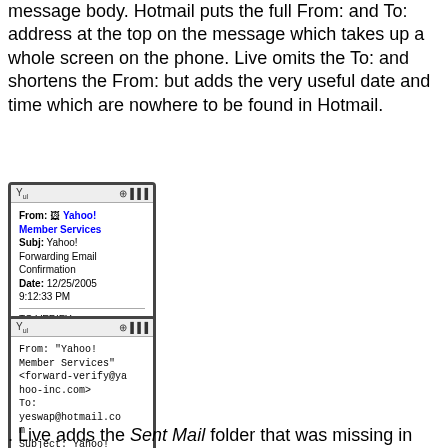message body. Hotmail puts the full From: and To: address at the top on the message which takes up a whole screen on the phone. Live omits the To: and shortens the From: but adds the very useful date and time which are nowhere to be found in Hotmail.
[Figure (screenshot): Mobile phone screenshot showing Live Mail message header with From: Yahoo! Member Services (blue link), Subj: Yahoo! Forwarding Email Confirmation, Date: 12/25/2005 9:12:33 PM, horizontal rule, TO VERIFY, and partial email address starting with 'yeswap@hotmail.c']
[Figure (screenshot): Mobile phone screenshot showing Hotmail message header in monospace font: From: 'Yahoo! Member Services' <forward-verify@yahoo-inc.com>, To: yeswap@hotmail.com, Subject: Yahoo! Forwarding Email Confirmation (truncated)]
. Live adds the Sent Mail folder that was missing in Hotmail